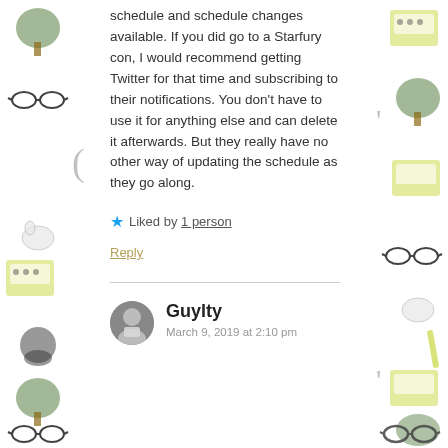schedule and schedule changes available. If you did go to a Starfury con, I would recommend getting Twitter for that time and subscribing to their notifications. You don't have to use it for anything else and can delete it afterwards. But they really have no other way of updating the schedule as they go along.
Liked by 1 person
Reply
Guylty
March 9, 2019 at 2:10 pm